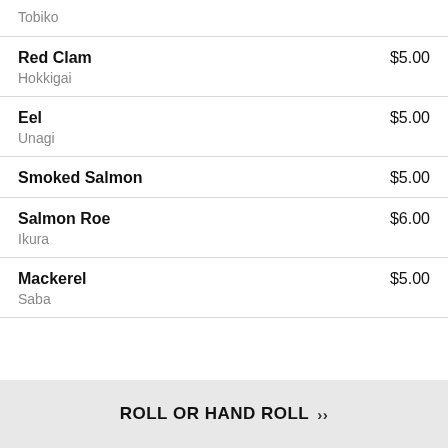Tobiko
Red Clam $5.00 | Hokkigai
Eel $5.00 | Unagi
Smoked Salmon $5.00
Salmon Roe $6.00 | Ikura
Mackerel $5.00 | Saba
ROLL OR HAND ROLL